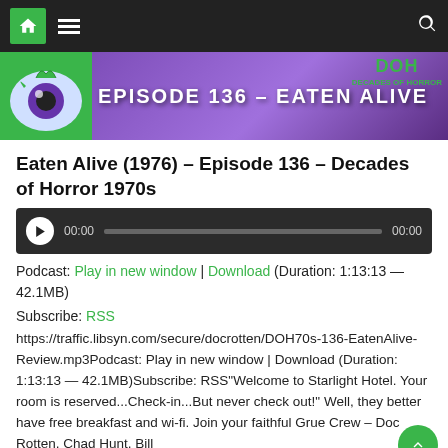Navigation bar with home, menu, and search icons
[Figure (illustration): Purple banner with green eyeball monster and text 'EPISODE 136 – EATEN ALIVE' with Decades of Horror logo]
Eaten Alive (1976) – Episode 136 – Decades of Horror 1970s
[Figure (other): Audio player widget showing 00:00 / 00:00 with play button and progress bar]
Podcast: Play in new window | Download (Duration: 1:13:13 — 42.1MB)
Subscribe: RSS
https://traffic.libsyn.com/secure/docrotten/DOH70s-136-EatenAlive-Review.mp3Podcast: Play in new window | Download (Duration: 1:13:13 — 42.1MB)Subscribe: RSS"Welcome to Starlight Hotel. Your room is reserved...Check-in...But never check out!" Well, they better have free breakfast and wi-fi. Join your faithful Grue Crew – Doc Rotten, Chad Hunt, Bill